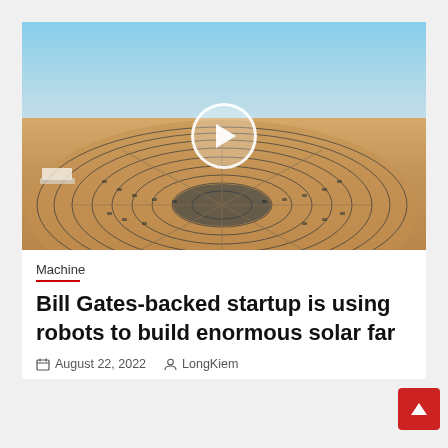[Figure (photo): Aerial view of a large circular solar farm in a desert landscape with blue sky, with a video play button overlay]
Machine
Bill Gates-backed startup is using robots to build enormous solar far
August 22, 2022   LongKiem